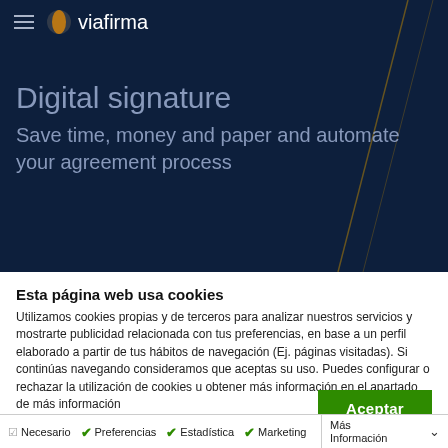[Figure (logo): Viafirma logo with hamburger menu icon on dark navy background hero section]
Digital signature
Save time, money and paper and automate your agreement process
Esta página web usa cookies
Utilizamos cookies propias y de terceros para analizar nuestros servicios y mostrarte publicidad relacionada con tus preferencias, en base a un perfil elaborado a partir de tus hábitos de navegación (Ej. páginas visitadas). Si continúas navegando consideramos que aceptas su uso. Puedes configurar o rechazar la utilización de cookies u obtener más información en el apartado de más información
Aceptar
Necesario   Preferencias   Estadística   Marketing   Más Información